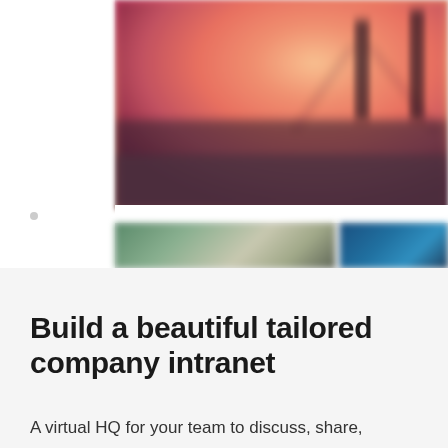[Figure (screenshot): A blurred screenshot of a company intranet web application showing a large hero image of the Golden Gate Bridge at sunset (orange/pink sky), a white navigation strip, and two smaller thumbnail images below — one of a green outdoor scene and one of a blue ocean/sky scene. The left side has a white panel.]
Build a beautiful tailored company intranet
A virtual HQ for your team to discuss, share,